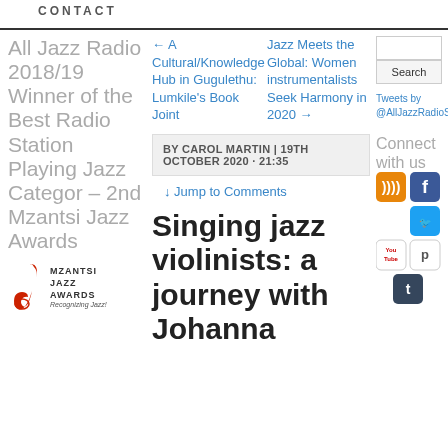CONTACT
All Jazz Radio 2018/19 Winner of the Best Radio Station Playing Jazz Category – 2nd Mzantsi Jazz Awards
[Figure (logo): Mzantsi Jazz Awards logo with red saxophone icon and text 'MZANTSI JAZZ AWARDS Recognizing Jazz!']
← A Cultural/Knowledge Hub in Gugulethu: Lumkile's Book Joint
Jazz Meets the Global: Women instrumentalists Seek Harmony in 2020 →
BY CAROL MARTIN | 19TH OCTOBER 2020 · 21:35
↓ Jump to Comments
Singing jazz violinists: a journey with Johanna
Tweets by @AllJazzRadioS
Connect with us
[Figure (illustration): Social media icons: RSS feed (orange), Facebook (blue), Twitter (blue bird), YouTube, Pinterest/Pearltrees, Tumblr]